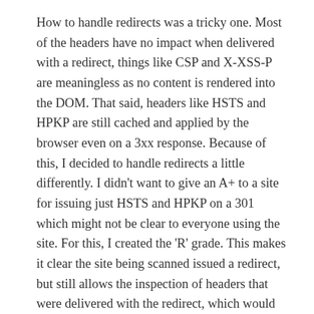How to handle redirects was a tricky one. Most of the headers have no impact when delivered with a redirect, things like CSP and X-XSS-P are meaningless as no content is rendered into the DOM. That said, headers like HSTS and HPKP are still cached and applied by the browser even on a 3xx response. Because of this, I decided to handle redirects a little differently. I didn't want to give an A+ to a site for issuing just HSTS and HPKP on a 301 which might not be clear to everyone using the site. For this, I created the 'R' grade. This makes it clear the site being scanned issued a redirect, but still allows the inspection of headers that were delivered with the redirect, which would be lost if I automatically followed it.